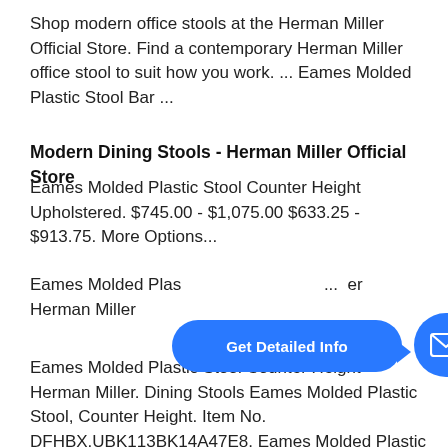Shop modern office stools at the Herman Miller Official Store. Find a contemporary Herman Miller office stool to suit how you work. ... Eames Molded Plastic Stool Bar ...
Modern Dining Stools - Herman Miller Official Store
Eames Molded Plastic Stool Counter Height Upholstered. $745.00 - $1,075.00 $633.25 - $913.75. More Options...
Eames Molded Plastic Stool ... Herman Miller
Eames Molded Plastic Stool Counter Height - Herman Miller. Dining Stools Eames Molded Plastic Stool, Counter Height. Item No. DFHBX.UBK113BK14A47E8. Eames Molded Plastic Stool, Counter Height. Designed by Charles and Ray Eames. $945.00 $803.25. Overview. +8
[Figure (infographic): Blue pill-shaped button with text 'Get Detailed Info' and an arrow pointing to a blue circle with a white envelope/mail icon]